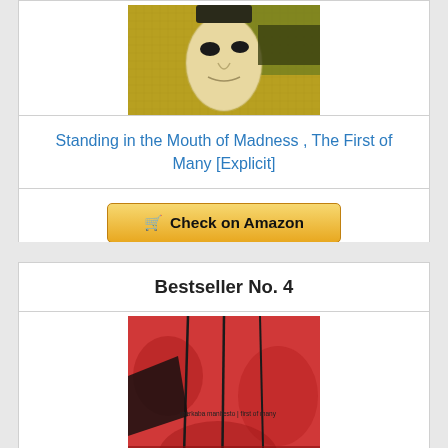[Figure (photo): Book cover image showing a white/golden mask face on a textured golden background]
Standing in the Mouth of Madness , The First of Many [Explicit]
Check on Amazon
Bestseller No. 4
[Figure (photo): Album/book cover with red/pink textured background, dark streaks, small text 'merkaba manifesto | first of many' and circular hole-punch patterns at the bottom]